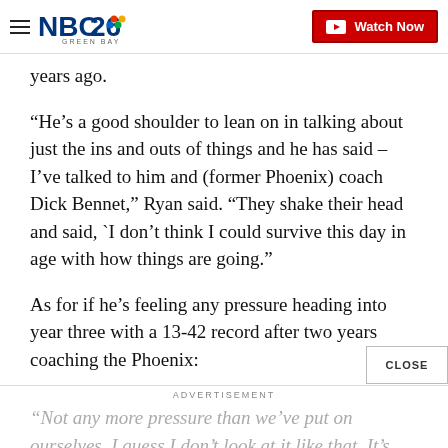NBC26 Green Bay — Watch Now
years ago.
“He’s a good shoulder to lean on in talking about just the ins and outs of things and he has said – I’ve talked to him and (former Phoenix) coach Dick Bennet,” Ryan said. “They shake their head and said, `I don’t think I could survive this day in age with how things are going.”
As for if he’s feeling any pressure heading into year three with a 13-42 record after two years coaching the Phoenix:
“Not any more pressure than we’ve put on ourselves. I guess I don’t look at it like that. It’s almost an entirely